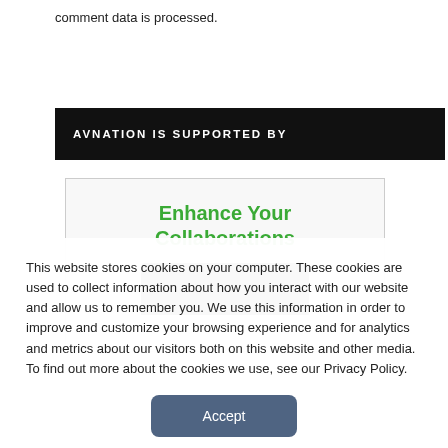comment data is processed.
AVNATION IS SUPPORTED BY
[Figure (illustration): Advertisement box with green bold heading 'Enhance Your Collaborations' and a partial image of a video conferencing device bar below it.]
This website stores cookies on your computer. These cookies are used to collect information about how you interact with our website and allow us to remember you. We use this information in order to improve and customize your browsing experience and for analytics and metrics about our visitors both on this website and other media. To find out more about the cookies we use, see our Privacy Policy.
Accept